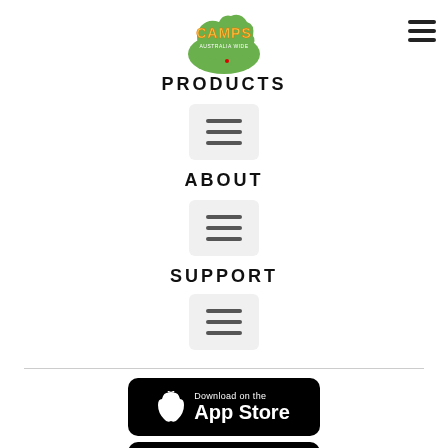[Figure (logo): Camps Australia Wide logo - green Australia map shape with colorful CAMPS text]
PRODUCTS
[Figure (other): Menu/hamburger icon in a rounded rectangle box]
ABOUT
[Figure (other): Menu/hamburger icon in a rounded rectangle box]
SUPPORT
[Figure (other): Menu/hamburger icon in a rounded rectangle box]
[Figure (other): Download on the App Store button - black rounded rectangle with Apple logo]
[Figure (other): GET IT ON Google Play button - black rounded rectangle with Google Play logo]